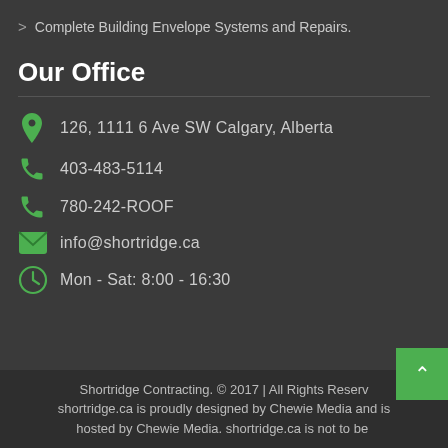Complete Building Envelope Systems and Repairs.
Our Office
126, 1111 6 Ave SW Calgary, Alberta
403-483-5114
780-242-ROOF
info@shortridge.ca
Mon - Sat: 8:00 - 16:30
Shortridge Contracting. © 2017 | All Rights Reserved shortridge.ca is proudly designed by Chewie Media and is hosted by Chewie Media. shortridge.ca is not to be re-used.